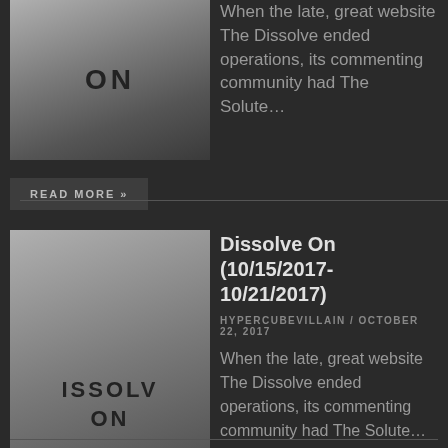[Figure (illustration): Thumbnail image with dark gradient background showing text 'ON' in bold dark letters — partial view of Dissolve On cover art]
When the late, great website The Dissolve ended operations, its commenting community had The Solute…
READ MORE »
Dissolve On (10/15/2017-10/21/2017)
HYPERCUBEVILLAIN / OCTOBER 22, 2017
[Figure (illustration): Thumbnail image with dark gradient background showing text 'ISSOLV ON' in bold dark letters — partial view of Dissolve On cover art]
When the late, great website The Dissolve ended operations, its commenting community had The Solute…
READ MORE »